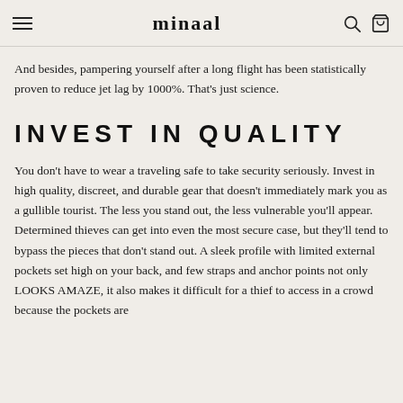minaal
And besides, pampering yourself after a long flight has been statistically proven to reduce jet lag by 1000%. That's just science.
INVEST IN QUALITY
You don't have to wear a traveling safe to take security seriously. Invest in high quality, discreet, and durable gear that doesn't immediately mark you as a gullible tourist. The less you stand out, the less vulnerable you'll appear. Determined thieves can get into even the most secure case, but they'll tend to bypass the pieces that don't stand out. A sleek profile with limited external pockets set high on your back, and few straps and anchor points not only LOOKS AMAZE, it also makes it difficult for a thief to access in a crowd because the pockets are